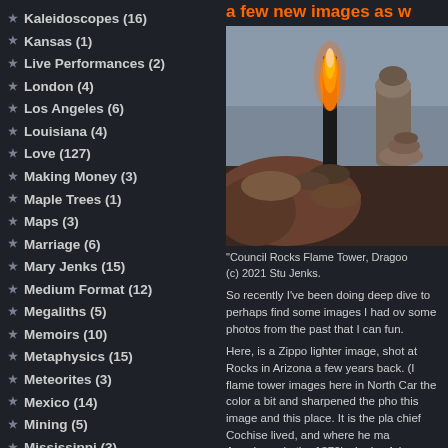Kaleidoscopes (16)
Kansas (1)
Live Performances (2)
London (4)
Los Angeles (6)
Louisiana (4)
Love (127)
Making Money (3)
Maple Trees (1)
Maps (3)
Marriage (6)
Mary Jenks (15)
Medium Format (12)
Megaliths (5)
Memoirs (10)
Metaphysics (15)
Meteorites (3)
Mexico (14)
Mining (5)
Mississippi (3)
Missouri (1)
Money (10)
Montana (3)
Moon (13)
a few new images as w
[Figure (photo): Photo of a flame-lit rock formation (Council Rocks Flame Tower, Dragoon area, Arizona) at dusk with stacked rocks visible in background]
"Council Rocks Flame Tower, Dragoo (c) 2021 Stu Jenks.
So recently I've been doing deep dive to perhaps find some images I had ov some photos from the past that I can fun.
Here, is a Zippo lighter image, shot at Rocks in Arizona a few years back. (I flame tower images here in North Car the color a bit and sharpened the pho this image and this place. It is the pla chief Cochise lived, and where he ma Americans in the 1870's. I miss Arizo